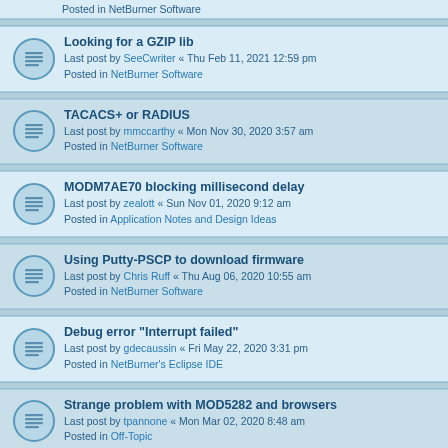Posted in NetBurner Software
Looking for a GZIP lib
Last post by SeeCwriter « Thu Feb 11, 2021 12:59 pm
Posted in NetBurner Software
TACACS+ or RADIUS
Last post by mmccarthy « Mon Nov 30, 2020 3:57 am
Posted in NetBurner Software
MODM7AE70 blocking millisecond delay
Last post by zealott « Sun Nov 01, 2020 9:12 am
Posted in Application Notes and Design Ideas
Using Putty-PSCP to download firmware
Last post by Chris Ruff « Thu Aug 06, 2020 10:55 am
Posted in NetBurner Software
Debug error "Interrupt failed"
Last post by gdecaussin « Fri May 22, 2020 3:31 pm
Posted in NetBurner's Eclipse IDE
Strange problem with MOD5282 and browsers
Last post by tpannone « Mon Mar 02, 2020 8:48 am
Posted in Off-Topic
IPsetup V2.5 not finding SBL2E-100R
Last post by mbarn « Wed Feb 26, 2020 6:06 pm
Posted in NetBurner Software
HiResTimer Usage
Last post by SeeCwriter « Thu Feb 06, 2020 12:54 pm
Posted in NetBurner Software